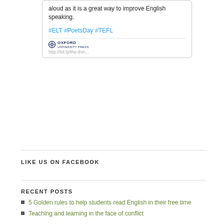[Figure (screenshot): Tweet card showing text 'aloud as it is a great way to improve English speaking.' with hashtags #ELT #PoetsDay #TEFL and Oxford University Press logo at bottom]
LIKE US ON FACEBOOK
RECENT POSTS
5 Golden rules to help students read English in their free time
Teaching and learning in the face of conflict
Is Technology Really Helping Us Teach Better?
Flashcard Games For Teaching English (With A Little Twist For Teenagers!)
English Pronunciation For A Global World: An Introduction
CATEGORIES